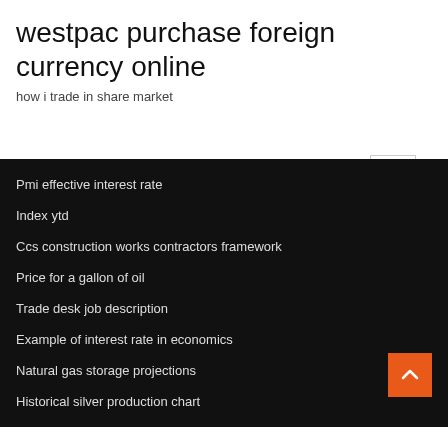westpac purchase foreign currency online
how i trade in share market
Pmi effective interest rate
Index ytd
Ccs construction works contractors framework
Price for a gallon of oil
Trade desk job description
Example of interest rate in economics
Natural gas storage projections
Historical silver production chart